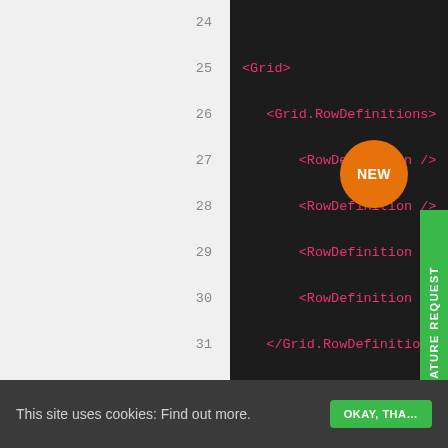[Figure (screenshot): Code editor screenshot showing XAML code lines 24-42 with line numbers on a light grey background and dark code area. Code includes Grid, Grid.RowDefinitions, RowDefinition, Grid.ColumnDefinitions, ColumnDefinition, and SciChartSurface XML tags in red/pink on dark background, with grey comment lines. Overlaid UI elements: orange 'NEW' badge, green 'SUBMIT A FEATURE REQUEST' sidebar, green 'Contact Sales' button, chat icon circle.]
This site uses cookies: Find out more.